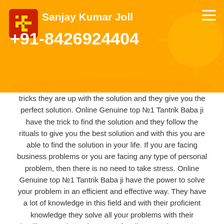Sanjay Kumar Joll +91-8426924404
tricks they are up with the solution and they give you the perfect solution. Online Genuine top №1 Tantrik Baba ji have the trick to find the solution and they follow the rituals to give you the best solution and with this you are able to find the solution in your life. If you are facing business problems or you are facing any type of personal problem, then there is no need to take stress. Online Genuine top №1 Tantrik Baba ji have the power to solve your problem in an efficient and effective way. They have a lot of knowledge in this field and with their proficient knowledge they solve all your problems with their intelligence. The main target of Online Genuine top №1 Tantrik Baba ji